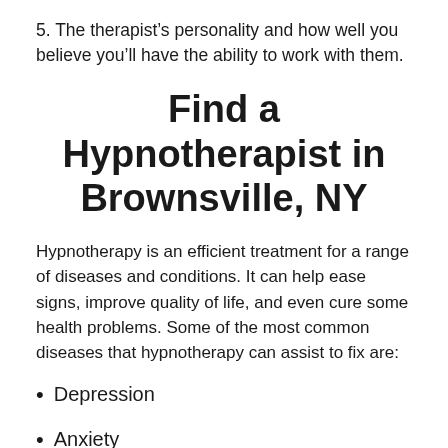5. The therapist's personality and how well you believe you'll have the ability to work with them.
Find a Hypnotherapist in Brownsville, NY
Hypnotherapy is an efficient treatment for a range of diseases and conditions. It can help ease signs, improve quality of life, and even cure some health problems. Some of the most common diseases that hypnotherapy can assist to fix are:
Depression
Anxiety